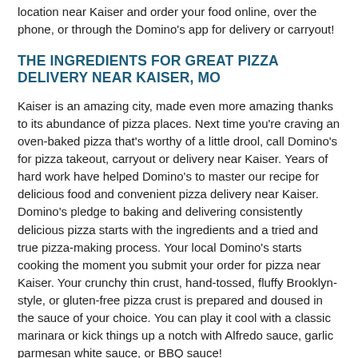location near Kaiser and order your food online, over the phone, or through the Domino's app for delivery or carryout!
THE INGREDIENTS FOR GREAT PIZZA DELIVERY NEAR KAISER, MO
Kaiser is an amazing city, made even more amazing thanks to its abundance of pizza places. Next time you're craving an oven-baked pizza that's worthy of a little drool, call Domino's for pizza takeout, carryout or delivery near Kaiser. Years of hard work have helped Domino's to master our recipe for delicious food and convenient pizza delivery near Kaiser. Domino's pledge to baking and delivering consistently delicious pizza starts with the ingredients and a tried and true pizza-making process. Your local Domino's starts cooking the moment you submit your order for pizza near Kaiser. Your crunchy thin crust, hand-tossed, fluffy Brooklyn-style, or gluten-free pizza crust is prepared and doused in the sauce of your choice. You can play it cool with a classic marinara or kick things up a notch with Alfredo sauce, garlic parmesan white sauce, or BBQ sauce!
Then it's time for the toppings, the morsels that make every bite